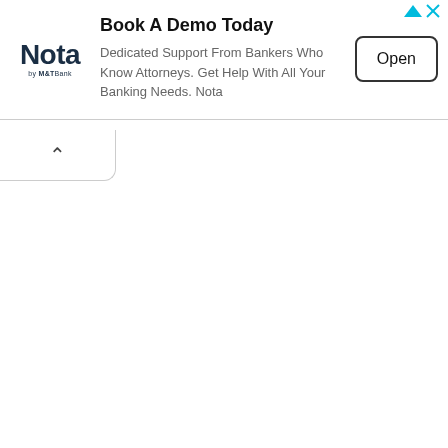[Figure (other): Advertisement banner for Nota by M&T Bank. Contains Nota logo on the left, headline 'Book A Demo Today', description text, and an 'Open' button on the right. Ad controls (triangle and X) in top-right corner.]
Book A Demo Today
Dedicated Support From Bankers Who Know Attorneys. Get Help With All Your Banking Needs. Nota